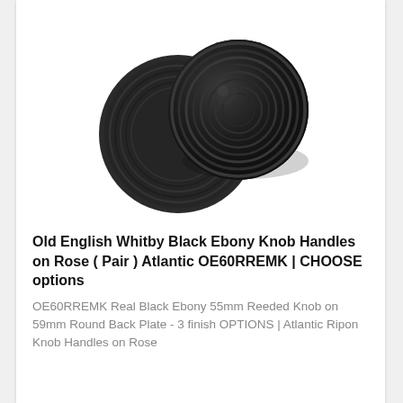[Figure (photo): A matte black door knob with reeded/ribbed concentric ring texture on a round rose backplate, shown against a white background. The knob is spherical with decorative ridges and sits on a circular base plate.]
Old English Whitby Black Ebony Knob Handles on Rose ( Pair ) Atlantic OE60RREMK | CHOOSE options
OE60RREMK Real Black Ebony 55mm Reeded Knob on 59mm Round Back Plate - 3 finish OPTIONS | Atlantic Ripon Knob Handles on Rose